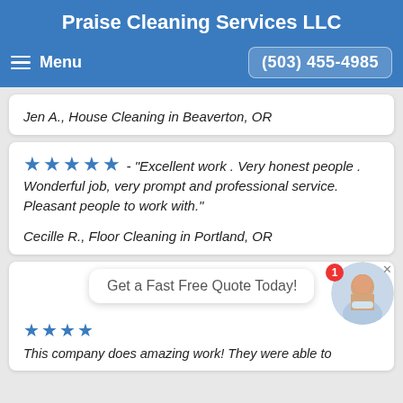Praise Cleaning Services LLC
Menu   (503) 455-4985
Jen A., House Cleaning in Beaverton, OR
★★★★★ - "Excellent work . Very honest people . Wonderful job, very prompt and professional service. Pleasant people to work with."
Cecille R., Floor Cleaning in Portland, OR
Get a Fast Free Quote Today!
★★★★ This company does amazing work! They were able to